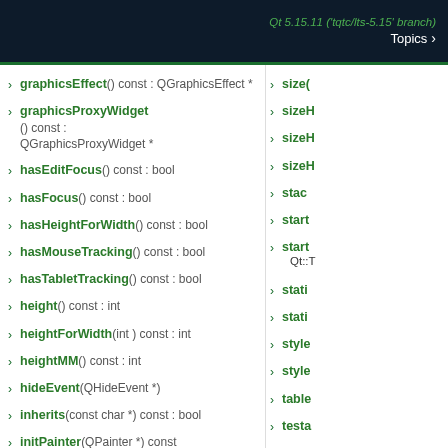Qt 5.15.11 ('tqtc/lts-5.15' branch) Topics
graphicsEffect() const : QGraphicsEffect *
graphicsProxyWidget() const : QGraphicsProxyWidget *
hasEditFocus() const : bool
hasFocus() const : bool
hasHeightForWidth() const : bool
hasMouseTracking() const : bool
hasTabletTracking() const : bool
height() const : int
heightForWidth(int ) const : int
heightMM() const : int
hideEvent(QHideEvent *)
inherits(const char *) const : bool
initPainter(QPainter *) const
initStyleOption(QStyleOptionDockWidget *) const
size(
sizeH
sizeH
sizeH
stac
start
start Qt::T
stati
stati
style
style
table
testa
thre